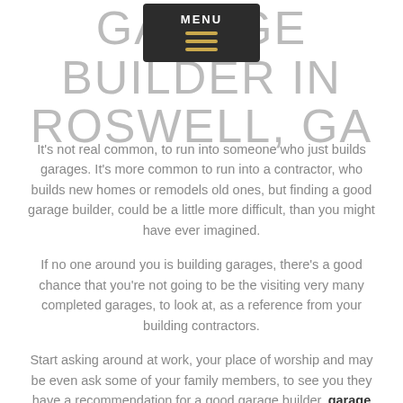GARAGE BUILDER IN ROSWELL, GA
[Figure (screenshot): Dark menu overlay with MENU label and three horizontal golden lines (hamburger icon)]
It's not real common, to run into someone who just builds garages. It's more common to run into a contractor, who builds new homes or remodels old ones, but finding a good garage builder, could be a little more difficult, than you might have ever imagined.
If no one around you is building garages, there's a good chance that you're not going to be the visiting very many completed garages, to look at, as a reference from your building contractors.
Start asking around at work, your place of worship and may be even ask some of your family members, to see you they have a recommendation for a good garage builder. garage builder in Roswell, GA. garage builder in Roswell,